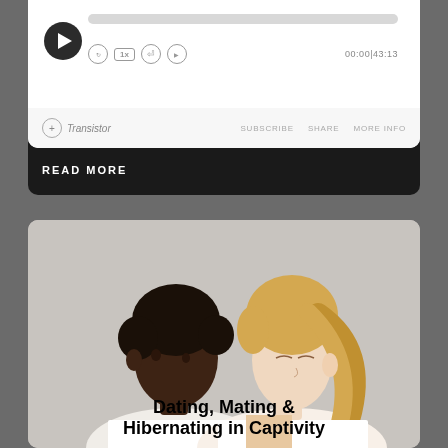[Figure (screenshot): Podcast player widget with play button, progress bar, speed controls, time display (00:00|43:13), Transistor branding, and SUBSCRIBE, SHARE, MORE INFO links. Dark background card with white player inner area.]
READ MORE
[Figure (photo): Two women standing back-to-back in profile view. One has dark short hair and brown skin looking left; the other has long blonde hair and fair skin with eyes closed facing right. Both wear white. Gray background. Text overlay at bottom reads: Dating, Mating & Hibernating in Captivity]
Dating, Mating & Hibernating in Captivity